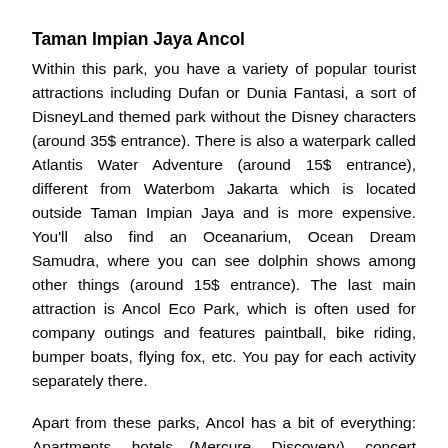Taman Impian Jaya Ancol
Within this park, you have a variety of popular tourist attractions including Dufan or Dunia Fantasi, a sort of DisneyLand themed park without the Disney characters (around 35$ entrance). There is also a waterpark called Atlantis Water Adventure (around 15$ entrance), different from Waterbom Jakarta which is located outside Taman Impian Jaya and is more expensive. You'll also find an Oceanarium, Ocean Dream Samudra, where you can see dolphin shows among other things (around 15$ entrance). The last main attraction is Ancol Eco Park, which is often used for company outings and features paintball, bike riding, bumper boats, flying fox, etc. You pay for each activity separately there.
Apart from these parks, Ancol has a bit of everything: Apartments, hotels (Mercure, Discovery), concert venues, a beachfront mall, a convention center, a lake, kid's playgrounds, shops, restaurants (Bandar Diakarta), cafés, a